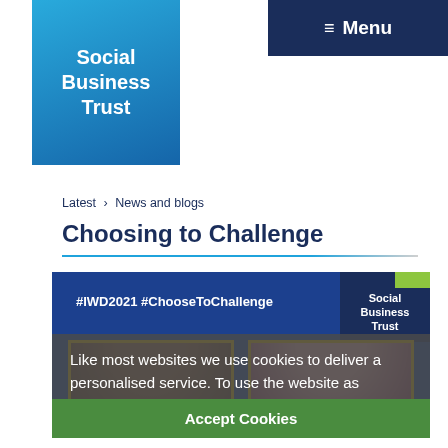Menu
[Figure (logo): Social Business Trust logo — white text on blue/teal gradient background]
Latest > News and blogs
Choosing to Challenge
[Figure (screenshot): Social Business Trust webpage screenshot showing #IWD2021 #ChooseToChallenge with two portrait photos (Chioma Odimba-Chapman, Partner, Clifford Chance and Larissa Joy OBE, Chair, Social Business Trust) overlaid with a cookie consent banner reading 'Like most websites we use cookies to deliver a personalised service. To use the website as intended please accept cookies.' with an Accept Cookies button]
Chioma Odimba-Chapman, Partner, Clifford Chance | Larissa Joy OBE, Chair, Social Business Trust